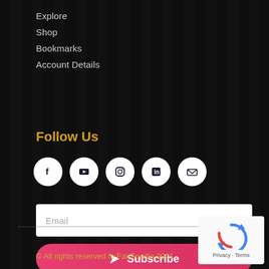Explore
Shop
Bookmarks
Account Details
Follow Us
[Figure (infographic): Row of five social media icons (Facebook, YouTube, Instagram, LinkedIn, Email) as white circles on dark background]
[Figure (infographic): Email input field (white rectangle) with placeholder text 'Email']
[Figure (infographic): Pink rounded Subscribe button with paper-plane icon]
© All rights reserved to FairFoodie 2021